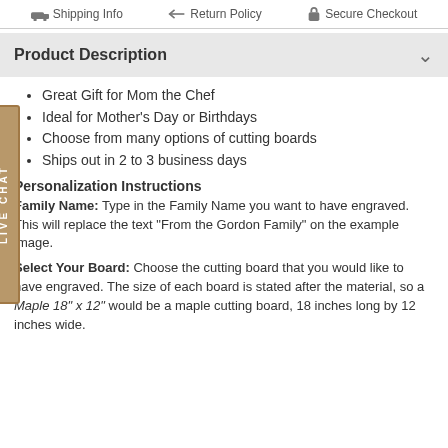Shipping Info  Return Policy  Secure Checkout
Product Description
Great Gift for Mom the Chef
Ideal for Mother's Day or Birthdays
Choose from many options of cutting boards
Ships out in 2 to 3 business days
Personalization Instructions
Family Name: Type in the Family Name you want to have engraved. This will replace the text "From the Gordon Family" on the example image.
Select Your Board: Choose the cutting board that you would like to have engraved. The size of each board is stated after the material, so a Maple 18" x 12" would be a maple cutting board, 18 inches long by 12 inches wide.